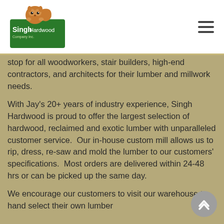Singh Hardwood Company Inc.
stop for all woodworkers, stair builders, high-end contractors, and architects for their lumber and millwork needs.
With Jay's 20+ years of industry experience, Singh Hardwood is proud to offer the largest selection of hardwood, reclaimed and exotic lumber with unparalleled customer service.  Our in-house custom mill allows us to rip, dress, re-saw and mold the lumber to our customers' specifications.  Most orders are delivered within 24-48 hrs or can be picked up the same day.
We encourage our customers to visit our warehouse to hand select their own lumber